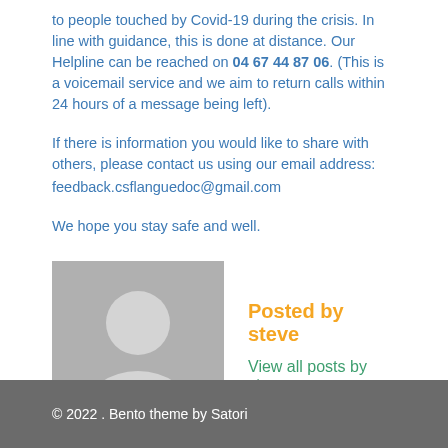to people touched by Covid-19 during the crisis. In line with guidance, this is done at distance. Our Helpline can be reached on 04 67 44 87 06. (This is a voicemail service and we aim to return calls within 24 hours of a message being left).
If there is information you would like to share with others, please contact us using our email address:
feedback.csflanguedoc@gmail.com
We hope you stay safe and well.
[Figure (illustration): Generic grey avatar silhouette placeholder image]
Posted by steve
View all posts by steve
© 2022 . Bento theme by Satori